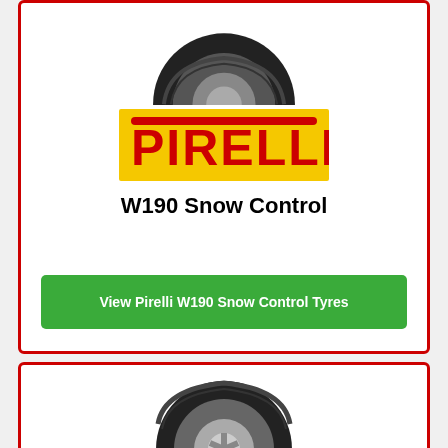[Figure (photo): Pirelli W190 Snow Control tyre image (top half visible), shown at the top of the first product card]
[Figure (logo): Pirelli logo on yellow background with red text]
W190 Snow Control
View Pirelli W190 Snow Control Tyres
[Figure (photo): Pirelli winter tyre image shown in the second product card at the bottom of the page, partially cut off]